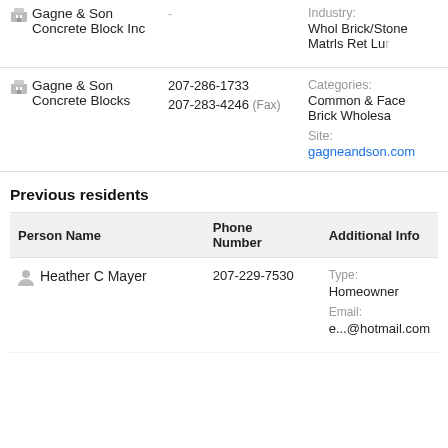Gagne & Son Concrete Block Inc | Industry: Whol Brick/Stone Matrls Ret Lur
Gagne & Son Concrete Blocks | 207-286-1733 | 207-283-4246 (Fax) | Categories: Common & Face Brick Wholesa | Site: gagneandson.com
Previous residents
| Person Name | Phone Number | Additional Info |
| --- | --- | --- |
| Heather C Mayer | 207-229-7530 | Type: Homeowner
Email: e...@hotmail.com |